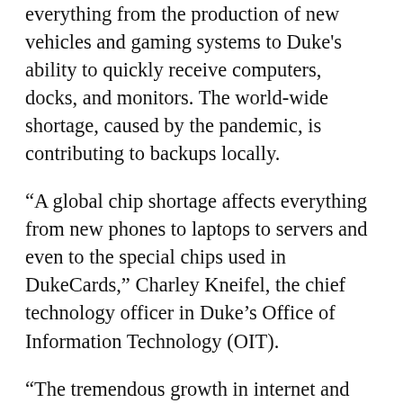everything from the production of new vehicles and gaming systems to Duke's ability to quickly receive computers, docks, and monitors. The world-wide shortage, caused by the pandemic, is contributing to backups locally.
“A global chip shortage affects everything from new phones to laptops to servers and even to the special chips used in DukeCards,” Charley Kneifel, the chief technology officer in Duke’s Office of Information Technology (OIT).
“The tremendous growth in internet and cloud-based services due to remote work caused big providers like Google, Apple, Microsoft and the phone companies to scramble to add capacity to their network and computer infrastructure.”